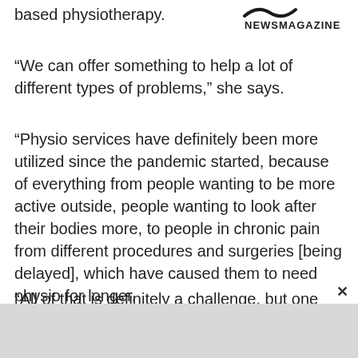based physiotherapy.
[Figure (logo): Tilde/swish logo mark above the text NEWSMAGAZINE in bold black sans-serif]
“We can offer something to help a lot of different types of problems,” she says.
“Physio services have definitely been more utilized since the pandemic started, because of everything from people wanting to be more active outside, people wanting to look after their bodies more, to people in chronic pain from different procedures and surgeries [being delayed], which have caused them to need physio for longer.
“All of that is definitely a challenge, but one that I think we’ve risen to pretty well.”